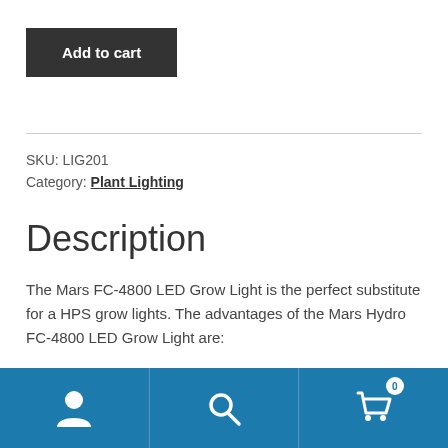Add to cart
SKU: LIG201
Category: Plant Lighting
Description
The Mars FC-4800 LED Grow Light is the perfect substitute for a HPS grow lights. The advantages of the Mars Hydro FC-4800 LED Grow Light are:
[Figure (other): Bottom navigation bar with user icon, search icon, and cart icon with badge showing 0]